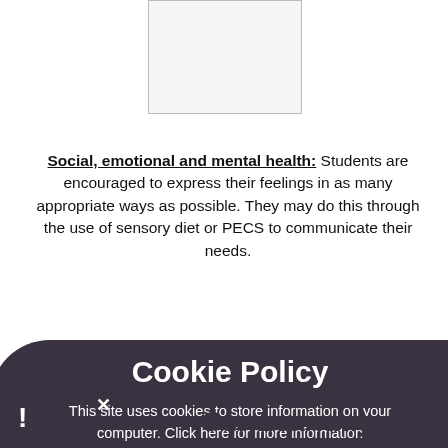[Figure (photo): Placeholder image box at top center of page]
Social, emotional and mental health: Students are encouraged to express their feelings in as many appropriate ways as possible. They may do this through the use of sensory diet or PECS to communicate their needs.
[Figure (screenshot): Cookie Policy overlay popup with dark rounded background. Title: 'Cookie Policy'. Body: 'This site uses cookies to store information on your computer. Click here for more information'. Buttons: 'Allow Cookies' and 'Deny Cookies'. X close button visible top left.]
Our Learning